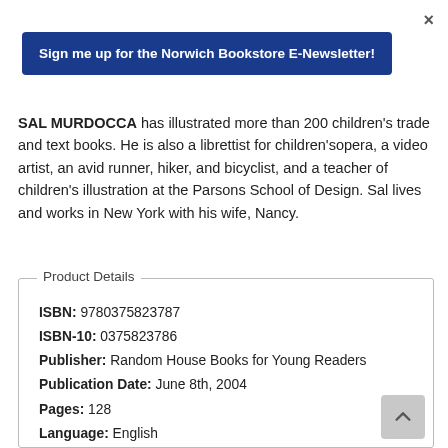×
[Figure (other): Blue button: Sign me up for the Norwich Bookstore E-Newsletter!]
SAL MURDOCCA has illustrated more than 200 children's trade and text books. He is also a librettist for children'sopera, a video artist, an avid runner, hiker, and bicyclist, and a teacher of children's illustration at the Parsons School of Design. Sal lives and works in New York with his wife, Nancy.
Product Details
| ISBN: | 9780375823787 |
| ISBN-10: | 0375823786 |
| Publisher: | Random House Books for Young Readers |
| Publication Date: | June 8th, 2004 |
| Pages: | 128 |
| Language: | English |